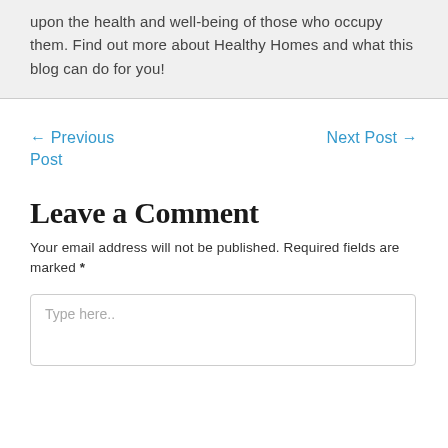upon the health and well-being of those who occupy them. Find out more about Healthy Homes and what this blog can do for you!
← Previous Post
Next Post →
Leave a Comment
Your email address will not be published. Required fields are marked *
Type here..